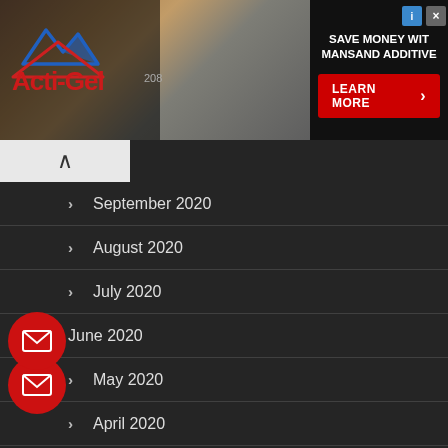[Figure (logo): Acti-Gel logo banner with construction photo background and advertisement for MANSAND ADDITIVE with LEARN MORE button]
September 2020
August 2020
July 2020
June 2020
May 2020
April 2020
March 2020
February 2020
January 2020